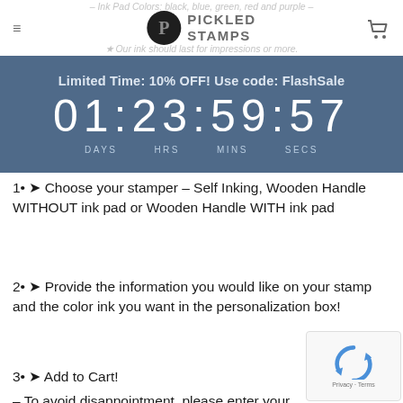Ink Pad Colors: black, blue, green, red and purple
PICKLED STAMPS
Our ink should last for impressions or more.
Limited Time: 10% OFF! Use code: FlashSale
01 : 23 : 59 : 57
DAYS   HRS   MINS   SECS
1• ➤ Choose your stamper – Self Inking, Wooden Handle WITHOUT ink pad or Wooden Handle WITH ink pad
2• ➤ Provide the information you would like on your stamp and the color ink you want in the personalization box!
3• ➤ Add to Cart!
– To avoid disappointment, please enter your